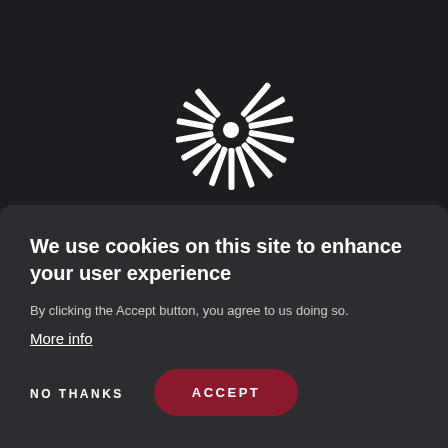[Figure (logo): Campus Compact logo — a stylized letter C made of radiating white lines/spokes on a dark background, with the text 'Campus Compact' below in white bold font]
We use cookies on this site to enhance your user experience
By clicking the Accept button, you agree to us doing so.
More info
NO THANKS
ACCEPT